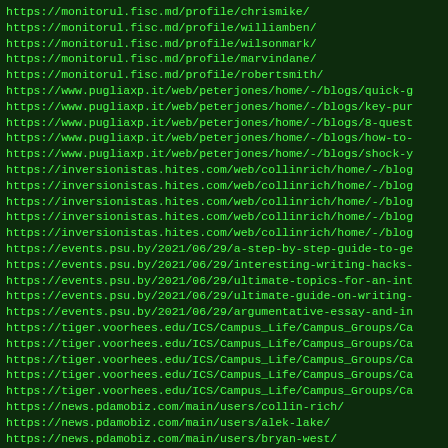https://monitorul.fisc.md/profile/chrismike/
https://monitorul.fisc.md/profile/williamben/
https://monitorul.fisc.md/profile/wilsonmark/
https://monitorul.fisc.md/profile/marvindane/
https://monitorul.fisc.md/profile/robertsmith/
https://www.pugliaxp.it/web/peterjones/home/-/blogs/quick-g
https://www.pugliaxp.it/web/peterjones/home/-/blogs/key-pur
https://www.pugliaxp.it/web/peterjones/home/-/blogs/8-quest
https://www.pugliaxp.it/web/peterjones/home/-/blogs/how-to-
https://www.pugliaxp.it/web/peterjones/home/-/blogs/shock-y
https://inversionistas.hites.com/web/collinrich/home/-/blog
https://inversionistas.hites.com/web/collinrich/home/-/blog
https://inversionistas.hites.com/web/collinrich/home/-/blog
https://inversionistas.hites.com/web/collinrich/home/-/blog
https://inversionistas.hites.com/web/collinrich/home/-/blog
https://events.psu.by/2021/06/29/a-step-by-step-guide-to-ge
https://events.psu.by/2021/06/29/interesting-writing-hacks-
https://events.psu.by/2021/06/29/ultimate-topics-for-an-int
https://events.psu.by/2021/06/29/ultimate-guide-on-writing-
https://events.psu.by/2021/06/29/argumentative-essay-and-in
https://tiger.voorhees.edu/ICS/Campus_Life/Campus_Groups/Ca
https://tiger.voorhees.edu/ICS/Campus_Life/Campus_Groups/Ca
https://tiger.voorhees.edu/ICS/Campus_Life/Campus_Groups/Ca
https://tiger.voorhees.edu/ICS/Campus_Life/Campus_Groups/Ca
https://tiger.voorhees.edu/ICS/Campus_Life/Campus_Groups/Ca
https://news.pdamobiz.com/main/users/collin-rich/
https://news.pdamobiz.com/main/users/alek-lake/
https://news.pdamobiz.com/main/users/bryan-west/
https://news.pdamobiz.com/main/users/dale-rogers/
https://news.pdamobiz.com/main/users/lan-charles/